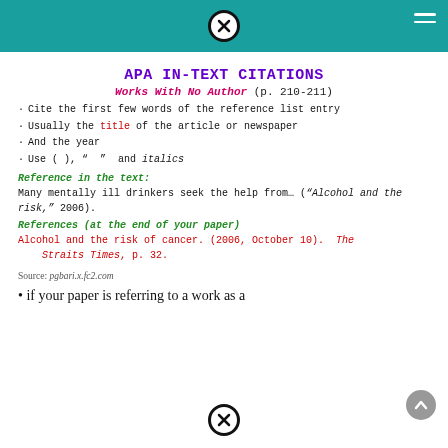APA IN-TEXT CITATIONS
APA IN-TEXT CITATIONS
Works With No Author (p. 210-211)
Cite the first few words of the reference list entry
Usually the title of the article or newspaper
And the year
Use (  ), "  "  and italics
Reference in the text:
Many mentally ill drinkers seek the help from… ("Alcohol and the risk," 2006).
References (at the end of your paper)
Alcohol and the risk of cancer. (2006, October 10).  The Straits Times, p. 32.
Source: pgbari.x.fc2.com
if your paper is referring to a work as a